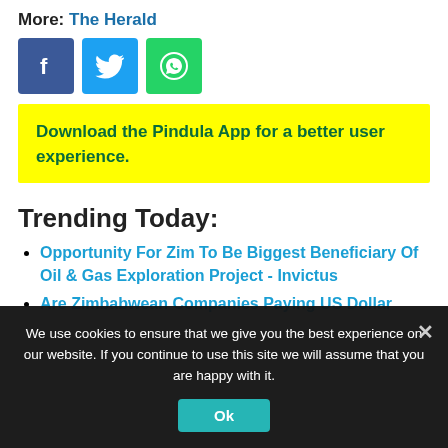More: The Herald
[Figure (other): Social media share icons: Facebook (blue), Twitter (blue), WhatsApp (green)]
Download the Pindula App for a better user experience.
Trending Today:
Opportunity For Zim To Be Biggest Beneficiary Of Oil & Gas Exploration Project - Invictus
Are Zimbabwean Companies Paying US Dollar...
We use cookies to ensure that we give you the best experience on our website. If you continue to use this site we will assume that you are happy with it.